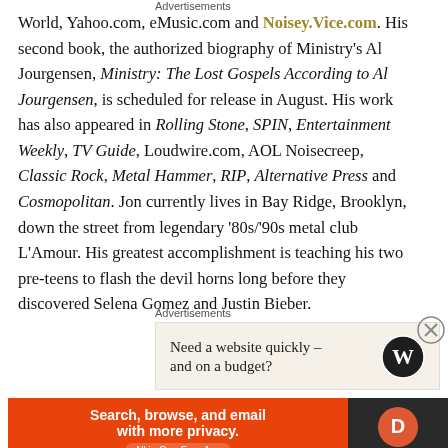World, Yahoo.com, eMusic.com and Noisey.Vice.com. His second book, the authorized biography of Ministry's Al Jourgensen, Ministry: The Lost Gospels According to Al Jourgensen, is scheduled for release in August. His work has also appeared in Rolling Stone, SPIN, Entertainment Weekly, TV Guide, Loudwire.com, AOL Noisecreep, Classic Rock, Metal Hammer, RIP, Alternative Press and Cosmopolitan. Jon currently lives in Bay Ridge, Brooklyn, down the street from legendary '80s/'90s metal club L'Amour. His greatest accomplishment is teaching his two pre-teens to flash the devil horns long before they discovered Selena Gomez and Justin Bieber.
Advertisements
[Figure (other): Advertisement box: 'Need a website quickly – and on a budget?' with WordPress logo]
Advertisements
[Figure (other): DuckDuckGo advertisement: 'Search, browse, and email with more privacy. All in One Free App' with DuckDuckGo logo on dark background]